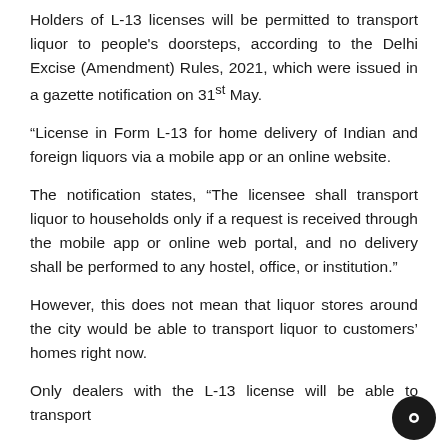Holders of L-13 licenses will be permitted to transport liquor to people's doorsteps, according to the Delhi Excise (Amendment) Rules, 2021, which were issued in a gazette notification on 31st May.
“License in Form L-13 for home delivery of Indian and foreign liquors via a mobile app or an online website.
The notification states, “The licensee shall transport liquor to households only if a request is received through the mobile app or online web portal, and no delivery shall be performed to any hostel, office, or institution.”
However, this does not mean that liquor stores around the city would be able to transport liquor to customers’ homes right now.
Only dealers with the L-13 license will be able to transport